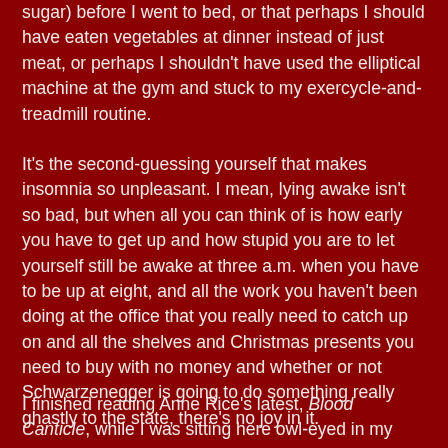sugar) before I went to bed, or that perhaps I should have eaten vegetables at dinner instead of just meat, or perhaps I shouldn't have used the elliptical machine at the gym and stuck to my exercycle-and-treadmill routine.
It's the second-guessing yourself that makes insomnia so unpleasant. I mean, lying awake isn't so bad, but when all you can think of is how early you have to get up and how stupid you are to let yourself still be awake at three a.m. when you have to be up at eight, and all the work you haven't been doing at the office that you really need to catch up on and all the shelves and Christmas presents you need to buy with no money and whether or not Schwarzenegger is going to do something really ghastly to the state, there's no joy in it.
I finished reading Anne Rice's latest, Blood Canticle, while I was sitting here owl-eyed in my bed unable to doze off. I'm